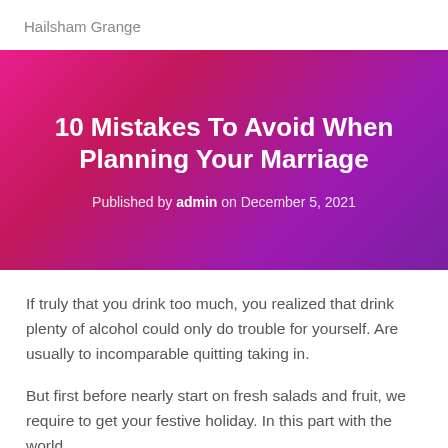Hailsham Grange
10 Mistakes To Avoid When Planning Your Marriage
Published by admin on December 5, 2021
If truly that you drink too much, you realized that drink plenty of alcohol could only do trouble for yourself. Are usually to incomparable quitting taking in.
But first before nearly start on fresh salads and fruit, we require to get your festive holiday. In this part with the world…